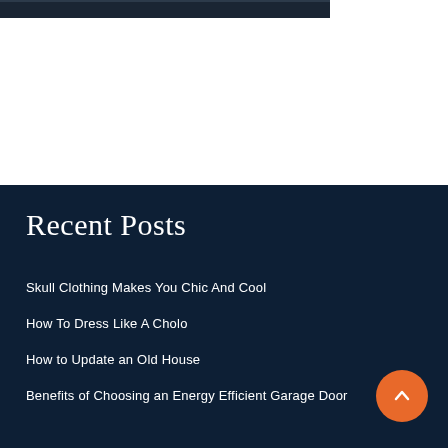[Figure (photo): Partial view of a person in dark jacket and white shirt, cropped at top of page]
Recent Posts
Skull Clothing Makes You Chic And Cool
How To Dress Like A Cholo
How to Update an Old House
Benefits of Choosing an Energy Efficient Garage Door